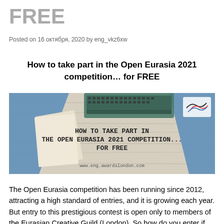FREE
Posted on 16 октября, 2020 by eng_vkz6xw
How to take part in the Open Eurasia 2021 competition… for FREE
[Figure (photo): Promotional image for Open Eurasia 2021 competition showing a typewriter and papers on a wooden desk background with text 'HOW TO TAKE PART IN THE OPEN EURASIA 2021 COMPETITION... FOR FREE' and website www.eng.awardslondon.com]
The Open Eurasia competition has been running since 2012, attracting a high standard of entries, and it is growing each year. But entry to this prestigious contest is open only to members of the Eurasian Creative Guild (London).  So how do you enter if you're